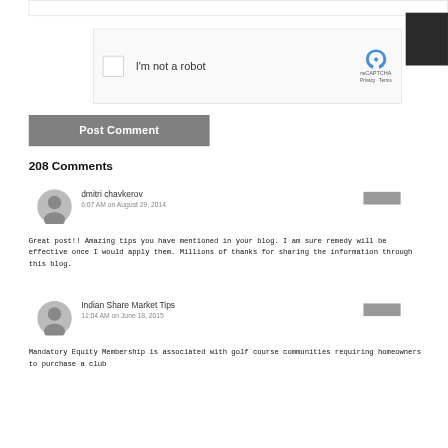[Figure (screenshot): reCAPTCHA widget with checkbox labeled I'm not a robot, reCAPTCHA logo, Privacy and Terms links]
Post Comment
208 Comments
dmitri chavkerov
6:07 AM on August 29, 2014
Great post!! Amazing tips you have mentioned in your blog. I am sure remedy will be effective once I would apply them. Millions of thanks for sharing the information through this blog.
Indian Share Market Tips
11:04 AM on June 18, 2015
Mandatory Equity Membership is associated with golf course communities requiring homeowners to purchase a club